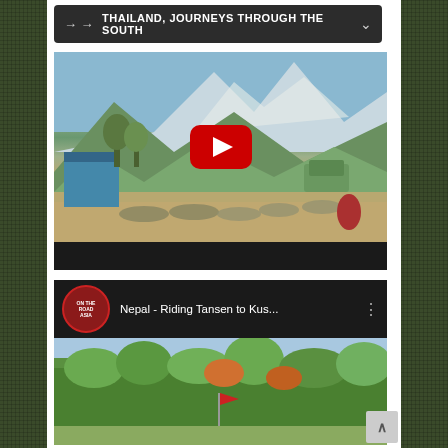→ → THAILAND, JOURNEYS THROUGH THE SOUTH
[Figure (screenshot): YouTube video thumbnail showing motorcycles parked in a mountain valley with a large red YouTube play button overlay. Mountains with snow visible in background, small shops and vehicles visible.]
[Figure (screenshot): YouTube video listing showing 'Nepal - Riding Tansen to Kus...' with On The Road Asia channel logo and thumbnail of green forested hillside with a flag.]